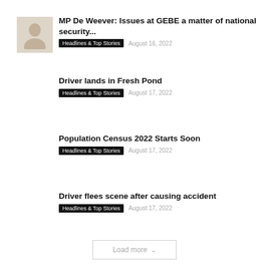[Figure (photo): Small thumbnail photo of a person, lightly toned]
MP De Weever: Issues at GEBE a matter of national security...
Headlines & Top Stories   August 16, 2022
Driver lands in Fresh Pond
Headlines & Top Stories   August 17, 2022
Population Census 2022 Starts Soon
Headlines & Top Stories   August 17, 2022
Driver flees scene after causing accident
Headlines & Top Stories   August 17, 2022
Load more